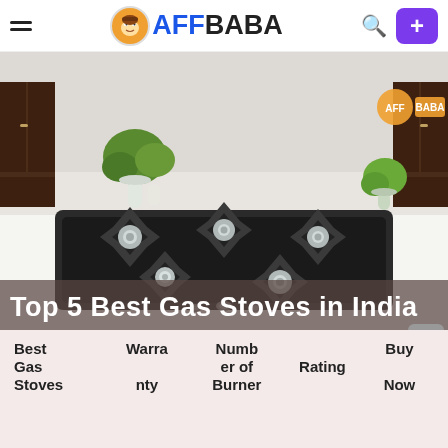AFFBABA
[Figure (photo): A modern 5-burner stainless steel gas cooktop on a white kitchen counter with dark wood cabinets and potted plants in background. The AFFBABA logo watermark appears in the top right of the image.]
Top 5 Best Gas Stoves in India
| Best Gas Stoves | Warranty | Number of Burner | Rating | Buy Now |
| --- | --- | --- | --- | --- |